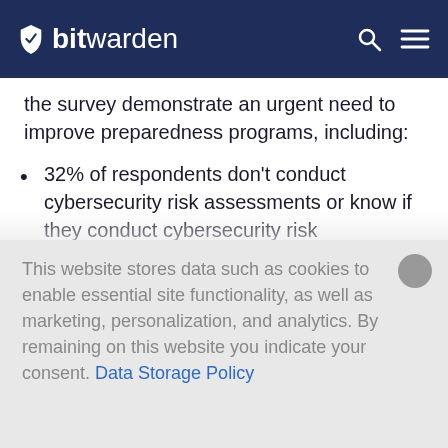bitwarden
the survey demonstrate an urgent need to improve preparedness programs, including:
32% of respondents don't conduct cybersecurity risk assessments or know if they conduct cybersecurity risk assessments
38% allocate less than 1% of their budgets
This website stores data such as cookies to enable essential site functionality, as well as marketing, personalization, and analytics. By remaining on this website you indicate your consent. Data Storage Policy